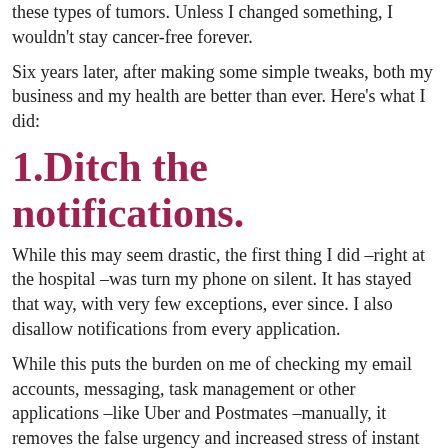these types of tumors. Unless I changed something, I wouldn't stay cancer-free forever.
Six years later, after making some simple tweaks, both my business and my health are better than ever. Here's what I did:
1.Ditch the notifications.
While this may seem drastic, the first thing I did –right at the hospital –was turn my phone on silent. It has stayed that way, with very few exceptions, ever since. I also disallow notifications from every application.
While this puts the burden on me of checking my email accounts, messaging, task management or other applications –like Uber and Postmates –manually, it removes the false urgency and increased stress of instant notifications.